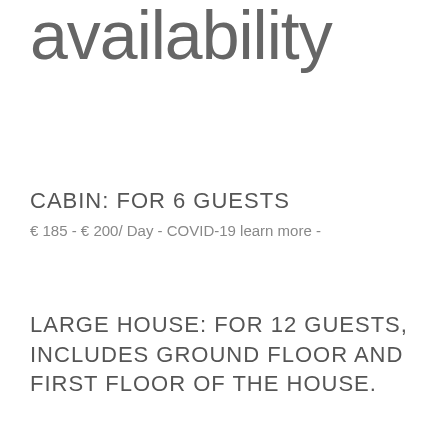availability
CABIN: FOR 6 GUESTS
€ 185 - € 200/ Day - COVID-19 learn more -
LARGE HOUSE: FOR 12 GUESTS, INCLUDES GROUND FLOOR AND FIRST FLOOR OF THE HOUSE.